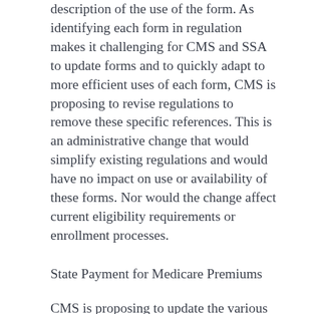description of the use of the form.  As identifying each form in regulation makes it challenging for CMS and SSA to update forms and to quickly adapt to more efficient uses of each form, CMS is proposing to revise regulations to remove these specific references.  This is an administrative change that would simplify existing regulations and would have no impact on use or availability of these forms.  Nor would the change affect current eligibility requirements or enrollment processes.
State Payment for Medicare Premiums
CMS is proposing to update the various regulations that affect a state’s payment of the Medicare Part A and B premiums on behalf of 10 million low-income individuals (often known as “state buy-in”).  These changes would better align the regulations with federal statute, policy and operations that have